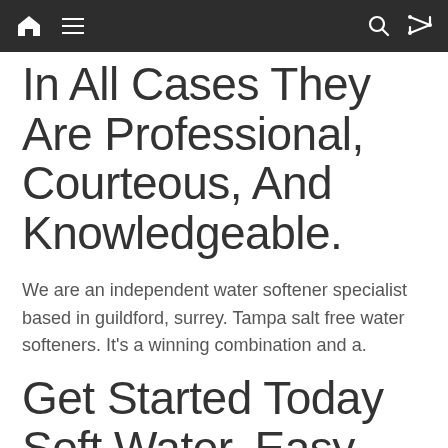navigation bar with home, menu, search, and shuffle icons
In All Cases They Are Professional, Courteous, And Knowledgeable.
We are an independent water softener specialist based in guildford, surrey. Tampa salt free water softeners. It's a winning combination and a.
Get Started Today Soft Water, Easy Maintenance Water Softener Salt Delivery Makes It Even Easier To